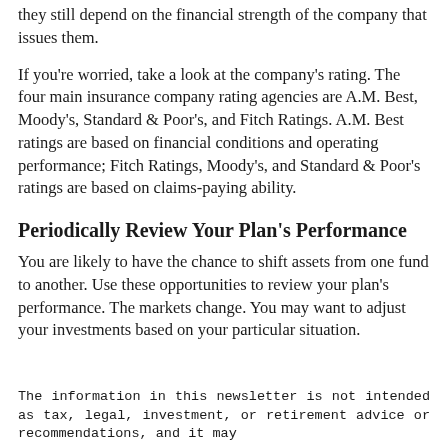they still depend on the financial strength of the company that issues them.
If you're worried, take a look at the company's rating. The four main insurance company rating agencies are A.M. Best, Moody's, Standard & Poor's, and Fitch Ratings. A.M. Best ratings are based on financial conditions and operating performance; Fitch Ratings, Moody's, and Standard & Poor's ratings are based on claims-paying ability.
Periodically Review Your Plan's Performance
You are likely to have the chance to shift assets from one fund to another. Use these opportunities to review your plan's performance. The markets change. You may want to adjust your investments based on your particular situation.
The information in this newsletter is not intended as tax, legal, investment, or retirement advice or recommendations, and it may